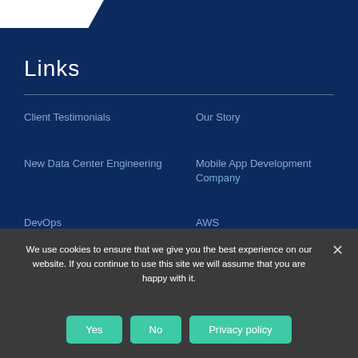[Figure (logo): White logo/header area with diagonal cut at top left]
Links
Client Testimonials
Our Story
New Data Center Engineering
Mobile App Development Company
DevOps
AWS
We use cookies to ensure that we give you the best experience on our website. If you continue to use this site we will assume that you are happy with it.